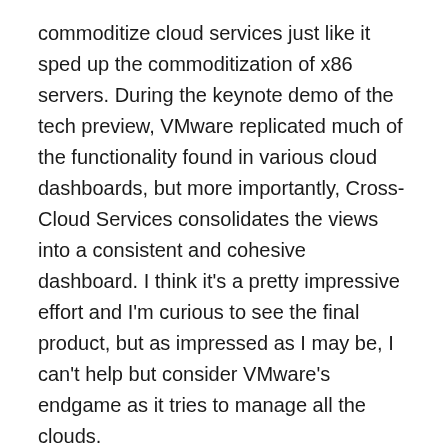commoditize cloud services just like it sped up the commoditization of x86 servers. During the keynote demo of the tech preview, VMware replicated much of the functionality found in various cloud dashboards, but more importantly, Cross-Cloud Services consolidates the views into a consistent and cohesive dashboard. I think it's a pretty impressive effort and I'm curious to see the final product, but as impressed as I may be, I can't help but consider VMware's endgame as it tries to manage all the clouds.
Of course, VMware isn't alone in this goal. Cisco Cloud Center, from its acquisition of CliQr, can do much the same as Cross-Cloud Services and more, such as deploying application bits. Other products offer similar capabilities, and overall, I think the critical benefit is that hybrid cloud managers can aggregate and rationalize capabilities in either on- or off-premises